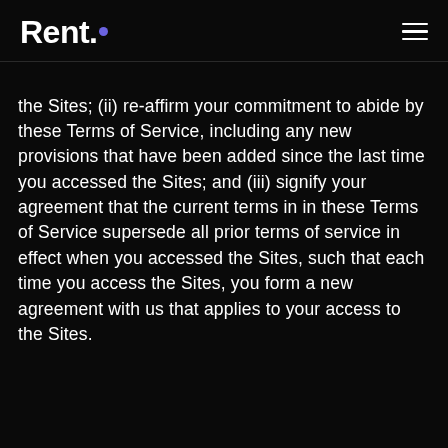Rent.
the Sites; (ii) re-affirm your commitment to abide by these Terms of Service, including any new provisions that have been added since the last time you accessed the Sites; and (iii) signify your agreement that the current terms in in these Terms of Service supersede all prior terms of service in effect when you accessed the Sites, such that each time you access the Sites, you form a new agreement with us that applies to your access to the Sites.